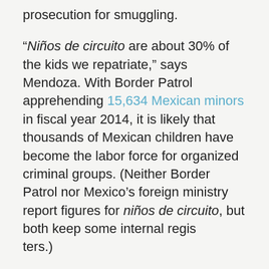prosecution for smuggling.
“Niños de circuito are about 30% of the kids we repatriate,” says Mendoza. With Border Patrol apprehending 15,634 Mexican minors in fiscal year 2014, it is likely that thousands of Mexican children have become the labor force for organized criminal groups. (Neither Border Patrol nor Mexico’s foreign ministry report figures for niños de circuito, but both keep some internal registers.)
Authorities on both sides of the border are well aware of the prevalence of circuit children.
“...TCOs [transnational criminal organizations] exploit hundreds of juveniles, using them as smugglers, guides, and scouts.” U.S. Customs and